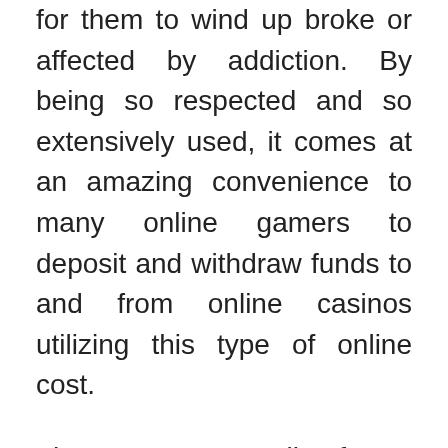for them to wind up broke or affected by addiction. By being so respected and so extensively used, it comes at an amazing convenience to many online gamers to deposit and withdraw funds to and from online casinos utilizing this type of online cost.
There are no calls for a vendor or different players impatiently standing around eager to play at a full table; there's all the time a desk accessible at a wide range of betting ranges. You may also strive for the extremely entertaining prompt play flash